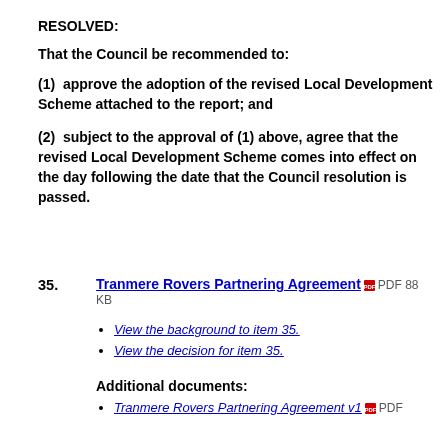RESOLVED:
That the Council be recommended to:
(1)  approve the adoption of the revised Local Development Scheme attached to the report; and
(2)  subject to the approval of (1) above, agree that the revised Local Development Scheme comes into effect on the day following the date that the Council resolution is passed.
35. Tranmere Rovers Partnering Agreement PDF 88 KB
View the background to item 35.
View the decision for item 35.
Additional documents:
Tranmere Rovers Partnering Agreement v1 PDF